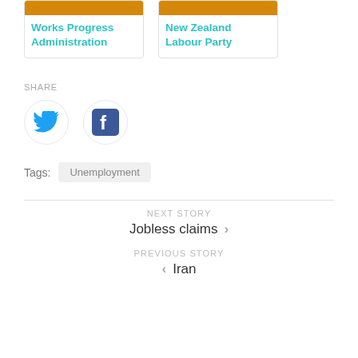[Figure (other): Card with orange bar and title Works Progress Administration]
[Figure (other): Card with orange bar and title New Zealand Labour Party]
SHARE
[Figure (other): Twitter bird icon (blue)]
[Figure (other): Facebook F icon (dark blue)]
Tags:
Unemployment
NEXT STORY
Jobless claims
PREVIOUS STORY
Iran